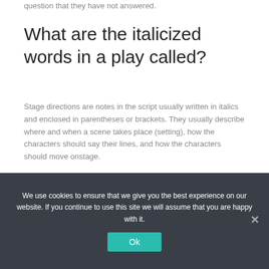question that they have not answered.
What are the italicized words in a play called?
Stage directions are notes in the script usually written in italics and enclosed in parentheses or brackets. They usually describe where and when a scene takes place (setting), how the characters should say their lines, and how the characters should move onstage.
How do you make words stand out?
We use cookies to ensure that we give you the best experience on our website. If you continue to use this site we will assume that you are happy with it.